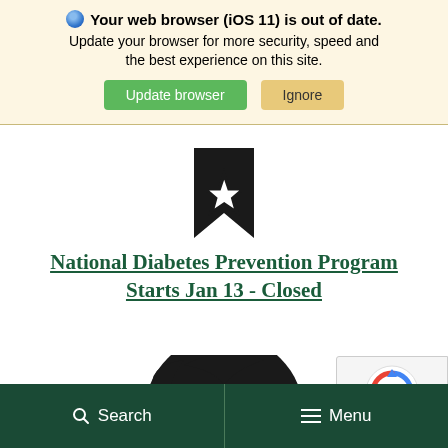Your web browser (iOS 11) is out of date. Update your browser for more security, speed and the best experience on this site.
[Figure (screenshot): Browser update notification banner with green 'Update browser' button and tan 'Ignore' button]
[Figure (logo): Black star/ribbon logo at top of page (partially visible)]
National Diabetes Prevention Program Starts Jan 13 - Closed
[Figure (logo): Michigan State University Spartan helmet logo in black (partially visible)]
[Figure (other): reCAPTCHA badge with Privacy and Terms links]
Search   Menu